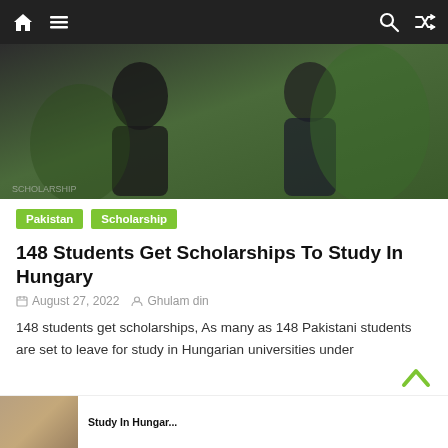Navigation bar with home, menu, search, and shuffle icons
[Figure (photo): Two Pakistani female students smiling, one holding a Pakistan flag card, outdoors with greenery in background. Watermark text visible at bottom left.]
Pakistan
Scholarship
148 Students Get Scholarships To Study In Hungary
August 27, 2022   Ghulam din
148 students get scholarships, As many as 148 Pakistani students are set to leave for study in Hungarian universities under
[Figure (photo): Partial thumbnail of another article at the bottom of the page]